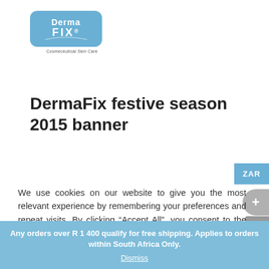[Figure (logo): DermaFix Cosmeceutical Skin Care logo — blue rounded rectangle with white text 'Derma FIX' and tagline 'Cosmeceutical Skin Care' below]
DermaFix festive season 2015 banner
We use cookies on our website to give you the most relevant experience by remembering your preferences and repeat visits. By clicking “Accept All”, you consent to the use of ALL the cookies. However, you may visit "Cookie Settings" to provide a controlled consent.
Any orders over R 1 400 qualify for free shipping. Applies to orders within South Africa Only.
Dismiss